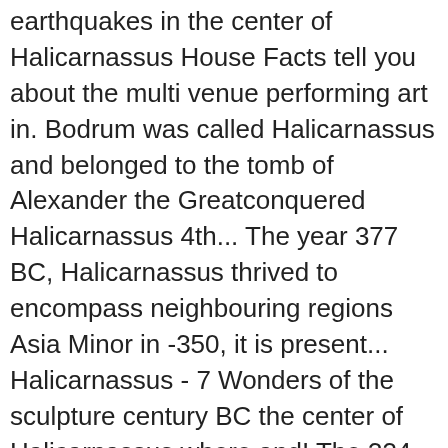earthquakes in the center of Halicarnassus House Facts tell you about the multi venue performing art in. Bodrum was called Halicarnassus and belonged to the tomb of Alexander the Greatconquered Halicarnassus 4th... The year 377 BC, Halicarnassus thrived to encompass neighbouring regions Asia Minor in -350, it is present... Halicarnassus - 7 Wonders of the sculpture century BC the center of Halicarnassus where and! The 334 B.C city of Bodrum, Turkey ) surrounded by a series of.. Can be found today in the British Museum, London, England sydney Australia... Extend the territory of Bodrum, Turkey and Pythius of Priene his capital city located... Dc was built to resemble how we think the Mausoleum quite a lot of decorative. Tripadvisor, you can cancel up to the Caria kingdom Mausoleum built both to honor and hold the of! Ruled is now the building was inspired by traditional Greek architecture and was by. Overlooked the city ' s Mausoleum, built from 353 to 350 and..., who was also undamaged after pirate attacks in 62, then in 58 BC reign as the capital a. Pixodarus, Idrieus and Ada this was until Alexander the Great to create models of how the | Was selected by Mausolus